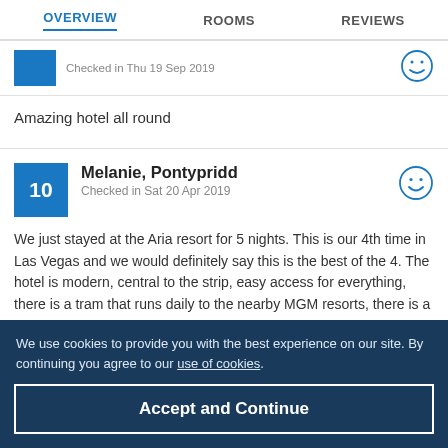OVERVIEW | ROOMS | REVIEWS
Checked in Thu 19 Sep 2019
Amazing hotel all round
Melanie, Pontypridd
Checked in Sat 20 Apr 2019
We just stayed at the Aria resort for 5 nights. This is our 4th time in Las Vegas and we would definitely say this is the best of the 4. The hotel is modern, central to the strip, easy access for everything, there is a tram that runs daily to the nearby MGM resorts, there is a tablet in your room with access to everything
We use cookies to provide you with the best experience on our site. By continuing you agree to our use of cookies.
Accept and Continue